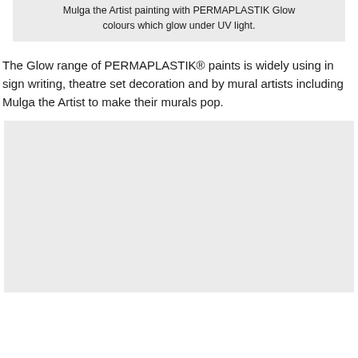Mulga the Artist painting with PERMAPLASTIK Glow colours which glow under UV light.
The Glow range of PERMAPLASTIK® paints is widely using in sign writing, theatre set decoration and by mural artists including Mulga the Artist to make their murals pop.
[Figure (photo): Large grey placeholder image box representing a photo of Mulga the Artist painting with PERMAPLASTIK Glow colours.]